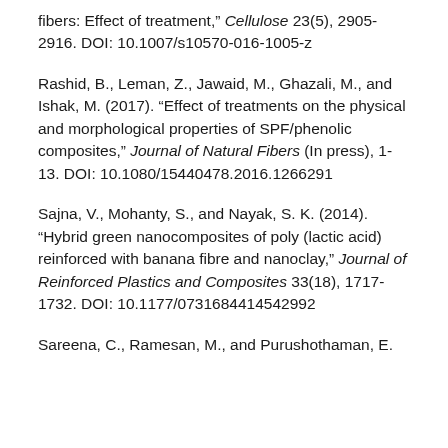fibers: Effect of treatment," Cellulose 23(5), 2905-2916. DOI: 10.1007/s10570-016-1005-z
Rashid, B., Leman, Z., Jawaid, M., Ghazali, M., and Ishak, M. (2017). “Effect of treatments on the physical and morphological properties of SPF/phenolic composites,” Journal of Natural Fibers (In press), 1-13. DOI: 10.1080/15440478.2016.1266291
Sajna, V., Mohanty, S., and Nayak, S. K. (2014). “Hybrid green nanocomposites of poly (lactic acid) reinforced with banana fibre and nanoclay,” Journal of Reinforced Plastics and Composites 33(18), 1717-1732. DOI: 10.1177/0731684414542992
Sareena, C., Ramesan, M., and Purushothaman, E.